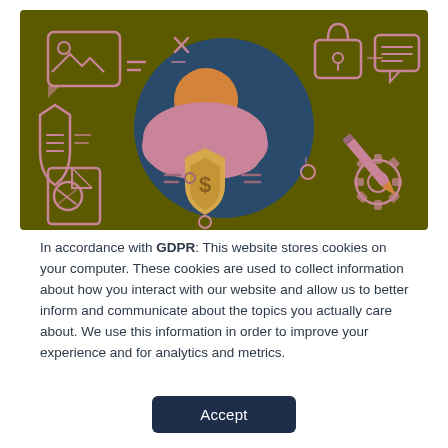[Figure (illustration): GDPR/privacy themed illustration on olive/dark yellow background. Center: a dark blue circle containing a pink cloud with a golden sun behind it and a golden shield with a dollar sign in front. Surrounding icons on the green background include: top-left a framed image/photo icon in a speech bubble shape, top-center an X mark and dashes, top-right a padlock, far-right a speech bubble with lines, left-center a shield with lines, bottom-left a document with a circle, bottom-center a circle with target lines, bottom-right a large gear/cog with a pencil through it.]
In accordance with GDPR: This website stores cookies on your computer. These cookies are used to collect information about how you interact with our website and allow us to better inform and communicate about the topics you actually care about. We use this information in order to improve your experience and for analytics and metrics.
Accept